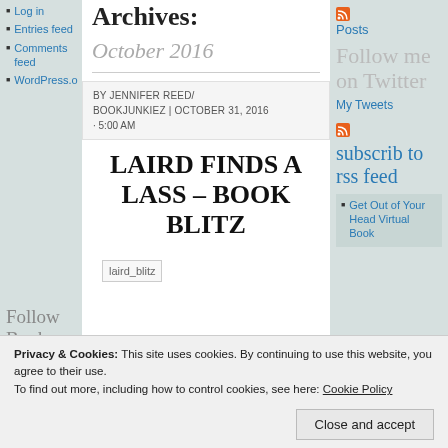Log in
Entries feed
Comments feed
WordPress.o
Archives:
October 2016
BY JENNIFER REED/ BOOKJUNKIEZ | OCTOBER 31, 2016 · 5:00 AM
LAIRD FINDS A LASS – BOOK BLITZ
[Figure (other): Broken image placeholder labeled laird_blitz]
Follow Book Junkiez via Email
Enter your email address to follow this blog and receive
Posts
Follow me on Twitter
My Tweets
subscrib to rss feed
Get Out of Your Head Virtual Book
Privacy & Cookies: This site uses cookies. By continuing to use this website, you agree to their use.
To find out more, including how to control cookies, see here: Cookie Policy
Close and accept